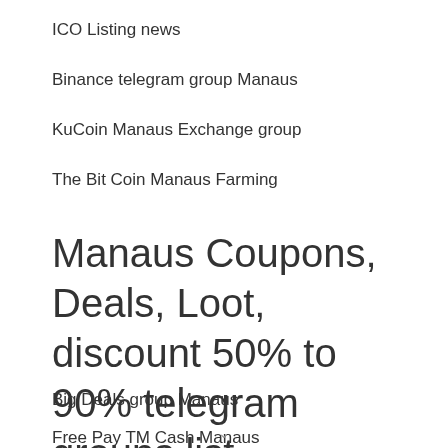ICO Listing news
Binance telegram group Manaus
KuCoin Manaus Exchange group
The Bit Coin Manaus Farming
Manaus Coupons, Deals, Loot, discount 50% to 90% telegram groups list
Big Deals group Manaus
Free Pay TM Cash Manaus